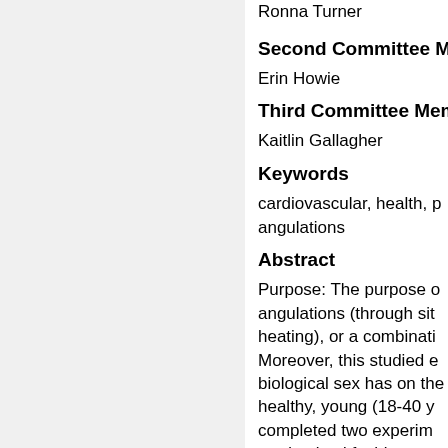Ronna Turner
Second Committee Member
Erin Howie
Third Committee Member
Kaitlin Gallagher
Keywords
cardiovascular, health, p... angulations
Abstract
Purpose: The purpose o... angulations (through si... heating), or a combinati... Moreover, this studied e... biological sex has on the... healthy, young (18-40 y... completed two experim... randomized fashion, on... increase shear rate. Foll... to the laboratory to com...